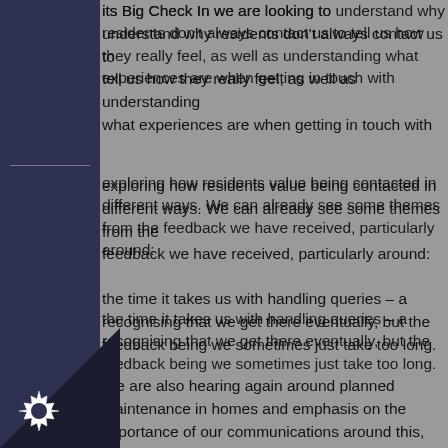its Big Check In we are looking to understand why residents don't always contact us to tell us how they really feel, as well as understanding what experiences are when getting in touch with
exploring how residents value being contacted in different ways. We can already see some themes from the feedback we have received, particularly around:
the time it takes us with handling queries – acknowledging that we get there eventually, but the feedback being we sometimes just take too long.
We are also hearing again around planned maintenance in homes and emphasis on the importance of our communications around this, to be clear when works will take place in individual homes.
We will review all of the feedback we have received at the end of July and provide more details on our website and in our next update about the themes we are hearing and what we will do.